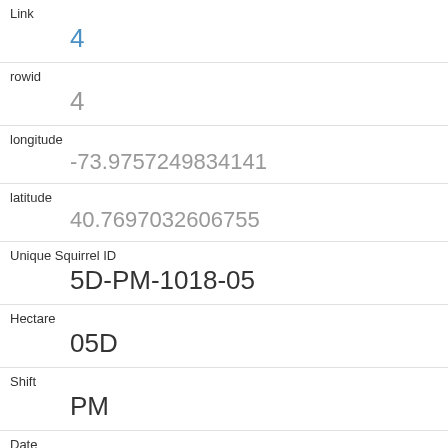| Field | Value |
| --- | --- |
| Link | 4 |
| rowid | 4 |
| longitude | -73.9757249834141 |
| latitude | 40.7697032606755 |
| Unique Squirrel ID | 5D-PM-1018-05 |
| Hectare | 05D |
| Shift | PM |
| Date | 10182018 |
| Hectare Squirrel Number | 5 |
| Age | Juvenile |
| Primary Fur Color |  |